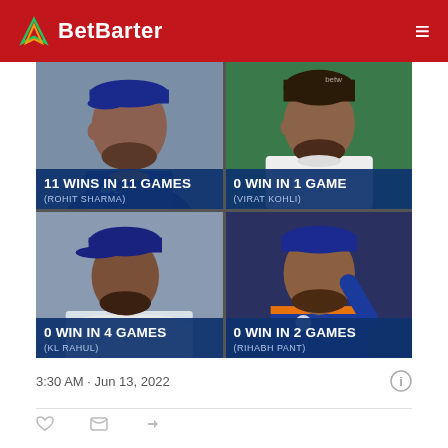BetBarter
[Figure (infographic): 2x2 grid of Indian cricket players with win records. Top-left: Rohit Sharma - 11 WINS IN 11 GAMES. Top-right: Virat Kohli - 0 WIN IN 1 GAME. Bottom-left: KL Rahul - 0 WIN IN 4 GAMES. Bottom-right: Rihabh Pant - 0 WIN IN 2 GAMES.]
3:30 AM · Jun 13, 2022